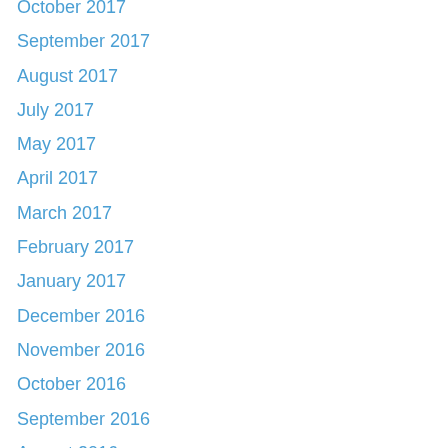October 2017
September 2017
August 2017
July 2017
May 2017
April 2017
March 2017
February 2017
January 2017
December 2016
November 2016
October 2016
September 2016
August 2016
July 2016
June 2016
May 2016
April 2016
March 2016
February 2016